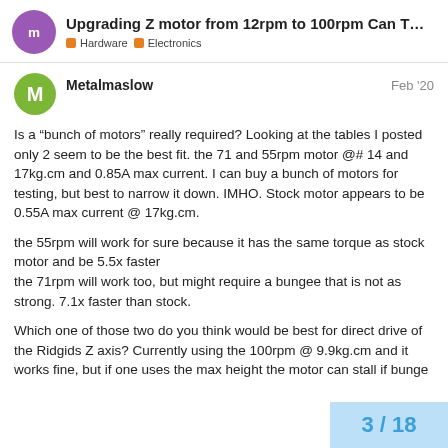Upgrading Z motor from 12rpm to 100rpm Can T... | Hardware | Electronics
Metalmaslow — Feb '20
Is a “bunch of motors” really required? Looking at the tables I posted only 2 seem to be the best fit. the 71 and 55rpm motor @# 14 and 17kg.cm and 0.85A max current. I can buy a bunch of motors for testing, but best to narrow it down. IMHO. Stock motor appears to be 0.55A max current @ 17kg.cm.

the 55rpm will work for sure because it has the same torque as stock motor and be 5.5x faster
the 71rpm will work too, but might require a bungee that is not as strong. 7.1x faster than stock.

Which one of those two do you think would be best for direct drive of the Ridgids Z axis? Currently using the 100rpm @ 9.9kg.cm and it works fine, but if one uses the max height the motor can stall if bunge
3 / 18